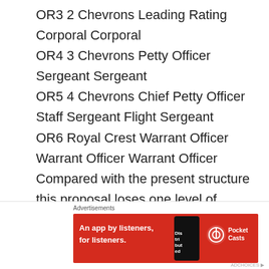OR3 2 Chevrons Leading Rating Corporal Corporal
OR4 3 Chevrons Petty Officer Sergeant Sergeant
OR5 4 Chevrons Chief Petty Officer Staff Sergeant Flight Sergeant
OR6 Royal Crest Warrant Officer Warrant Officer Warrant Officer
Compared with the present structure this proposal loses one level of Warrant Officer, and one level of Junior Officer. More controversially it lose the middle ranks of
[Figure (other): Pocket Casts advertisement banner with red background, phone graphic, and Pocket Casts logo and text reading 'An app by listeners, for listeners.']
Advertisements